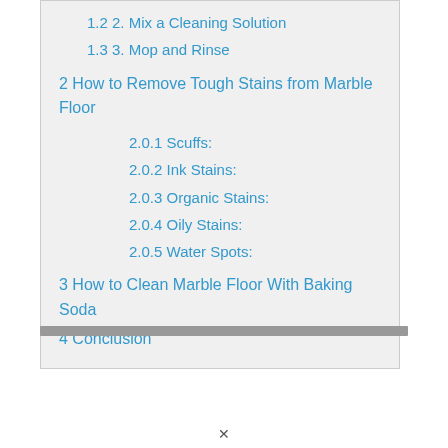1.2 2. Mix a Cleaning Solution
1.3 3. Mop and Rinse
2 How to Remove Tough Stains from Marble Floor
2.0.1 Scuffs:
2.0.2 Ink Stains:
2.0.3 Organic Stains:
2.0.4 Oily Stains:
2.0.5 Water Spots:
3 How to Clean Marble Floor With Baking Soda
4 Conclusion